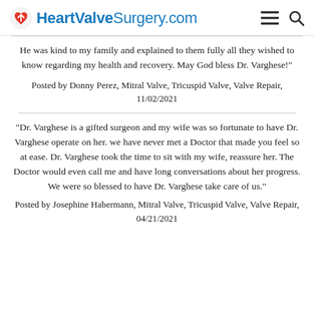HeartValveSurgery.com
He was kind to my family and explained to them fully all they wished to know regarding my health and recovery. May God bless Dr. Varghese!"
Posted by Donny Perez, Mitral Valve, Tricuspid Valve, Valve Repair, 11/02/2021
"Dr. Varghese is a gifted surgeon and my wife was so fortunate to have Dr. Varghese operate on her. we have never met a Doctor that made you feel so at ease. Dr. Varghese took the time to sit with my wife, reassure her. The Doctor would even call me and have long conversations about her progress. We were so blessed to have Dr. Varghese take care of us."
Posted by Josephine Habermann, Mitral Valve, Tricuspid Valve, Valve Repair, 04/21/2021